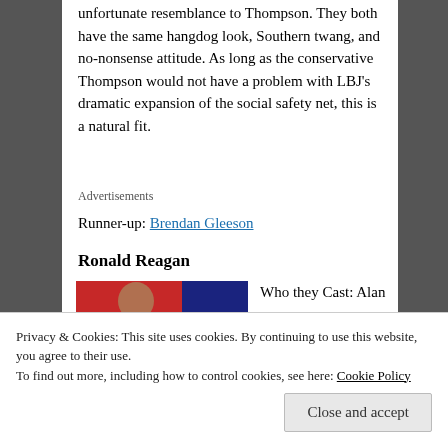unfortunate resemblance to Thompson. They both have the same hangdog look, Southern twang, and no-nonsense attitude. As long as the conservative Thompson would not have a problem with LBJ's dramatic expansion of the social safety net, this is a natural fit.
Advertisements
Runner-up: Brendan Gleeson
Ronald Reagan
[Figure (photo): Partial photo of a person, with red and dark blue background]
Who they Cast: Alan
Privacy & Cookies: This site uses cookies. By continuing to use this website, you agree to their use.
To find out more, including how to control cookies, see here: Cookie Policy
Close and accept